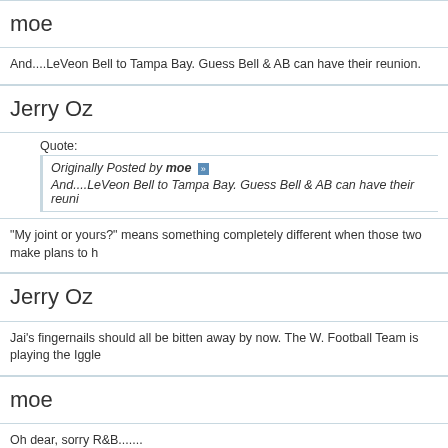moe
And....LeVeon Bell to Tampa Bay. Guess Bell & AB can have their reunion.
Jerry Oz
Quote:
Originally Posted by moe
And....LeVeon Bell to Tampa Bay. Guess Bell & AB can have their reuni...
"My joint or yours?" means something completely different when those two make plans to h
Jerry Oz
Jai's fingernails should all be bitten away by now. The W. Football Team is playing the Iggle
moe
Oh dear, sorry R&B.......